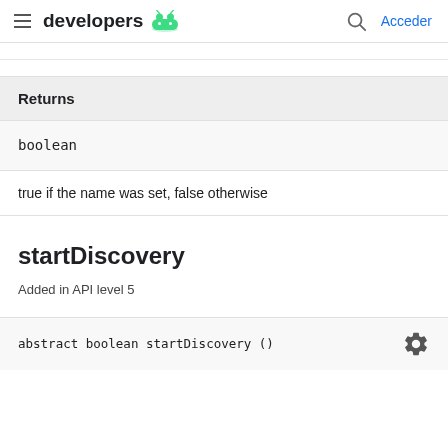developers | Acceder
| Returns |
| --- |
| boolean |
true if the name was set, false otherwise
startDiscovery
Added in API level 5
abstract boolean startDiscovery ()